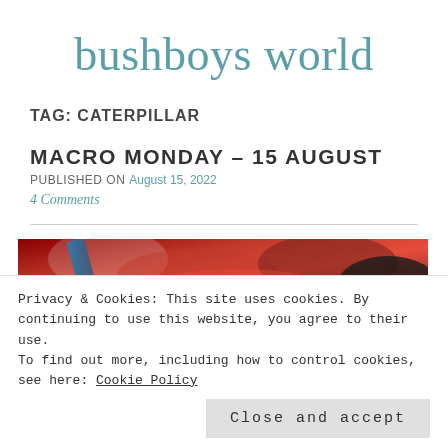bushboys world
TAG: CATERPILLAR
MACRO MONDAY – 15 AUGUST
PUBLISHED ON August 15, 2022
4 Comments
[Figure (photo): Close-up macro photograph showing vibrant red and dark tones, partial view of a caterpillar or similar macro subject]
Privacy & Cookies: This site uses cookies. By continuing to use this website, you agree to their use.
To find out more, including how to control cookies, see here: Cookie Policy
Close and accept